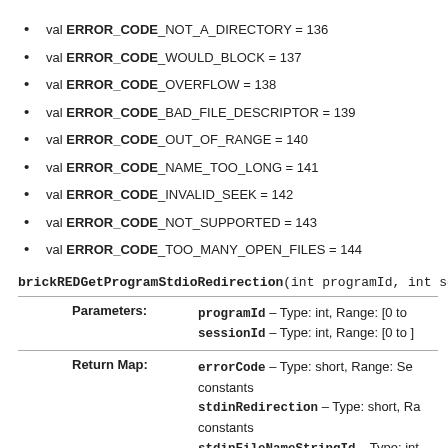val ERROR_CODE_NOT_A_DIRECTORY = 136
val ERROR_CODE_WOULD_BLOCK = 137
val ERROR_CODE_OVERFLOW = 138
val ERROR_CODE_BAD_FILE_DESCRIPTOR = 139
val ERROR_CODE_OUT_OF_RANGE = 140
val ERROR_CODE_NAME_TOO_LONG = 141
val ERROR_CODE_INVALID_SEEK = 142
val ERROR_CODE_NOT_SUPPORTED = 143
val ERROR_CODE_TOO_MANY_OPEN_FILES = 144
brickREDGetProgramStdioRedirection(int programId, int sess…
|  |  |
| --- | --- |
| Parameters: | programId – Type: int, Range: [0 to…
sessionId – Type: int, Range: [0 to… |
| Return Map: | errorCode – Type: short, Range: Se… constants
stdinRedirection – Type: short, Ra… constants
stdinFileNameStringId – Type: int, … [0 to 2^16 - 1]
stdoutRedirection – Type: short, R… |